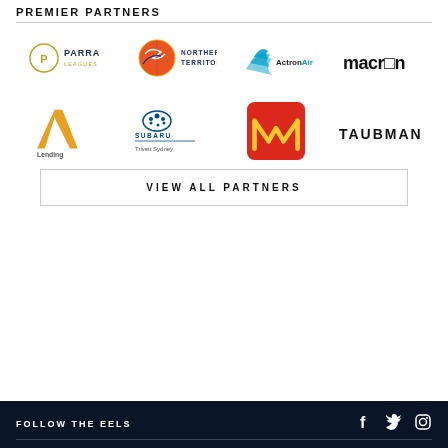PREMIER PARTNERS
[Figure (logo): Parra Leagues logo - circle P with PARRA LEAGUES text]
[Figure (logo): Northern Territory logo with boomerang/bird and text]
[Figure (logo): ActronAir logo with blue wave symbol]
[Figure (logo): macron logo in black text]
[Figure (logo): LA Lending Association logo in gold/orange]
[Figure (logo): Subaru Trivett Sydney logo]
[Figure (logo): McDonald's golden arches logo on red background]
[Figure (logo): TAUBMANS logo in black text]
VIEW ALL PARTNERS
FOLLOW THE EELS